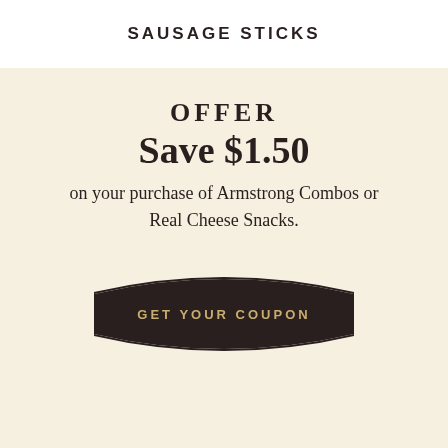SAUSAGE STICKS
OFFER
Save $1.50
on your purchase of Armstrong Combos or Real Cheese Snacks.
[Figure (other): Dark curved banner button shape with text 'GET YOUR COUPON']